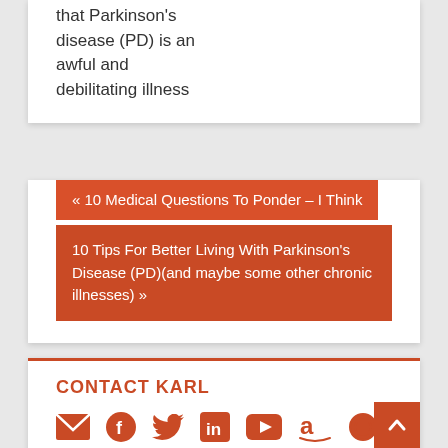that Parkinson's disease (PD) is an awful and debilitating illness
« 10 Medical Questions To Ponder – I Think
10 Tips For Better Living With Parkinson's Disease (PD)(and maybe some other chronic illnesses) »
CONTACT KARL
[Figure (infographic): Row of social media and contact icons: email, Facebook, Twitter, LinkedIn, YouTube, Amazon, WordPress — all in orange/red color]